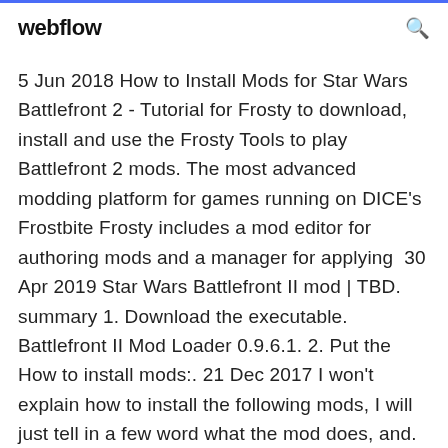webflow
5 Jun 2018 How to Install Mods for Star Wars Battlefront 2 - Tutorial for Frosty to download, install and use the Frosty Tools to play Battlefront 2 mods. The most advanced modding platform for games running on DICE's Frostbite Frosty includes a mod editor for authoring mods and a manager for applying  30 Apr 2019 Star Wars Battlefront II mod | TBD. summary 1. Download the executable. Battlefront II Mod Loader 0.9.6.1. 2. Put the How to install mods:. 21 Dec 2017 I won't explain how to install the following mods, I will just tell in a few word what the mod does, and. Last. Unofficial Star Wars Battlefront II v1.3 Patch for